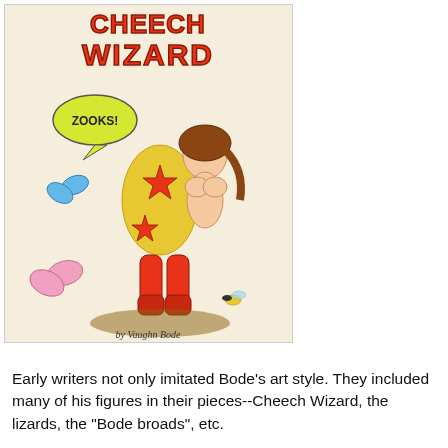[Figure (illustration): Comic book cover illustration of Cheech Wizard by Vaughn Bode. Shows a cartoon character in a red-and-yellow star-patterned costume carrying a nude female figure. Colorful butterflies and bees surround them. A speech bubble reads 'ZOOKS!' Title text at top reads 'Cheech Wizard'. Text at bottom reads 'by Vaughn Bode'.]
Early writers not only imitated Bode's art style. They included many of his figures in their pieces--Cheech Wizard, the lizards, the "Bode broads", etc.